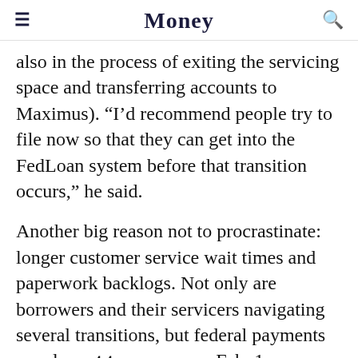Money
also in the process of exiting the servicing space and transferring accounts to Maximus). “I’d recommend people try to file now so that they can get into the FedLoan system before that transition occurs,” he said.
Another big reason not to procrastinate: longer customer service wait times and paperwork backlogs. Not only are borrowers and their servicers navigating several transitions, but federal payments are also set to resume on Feb. 1, following nearly